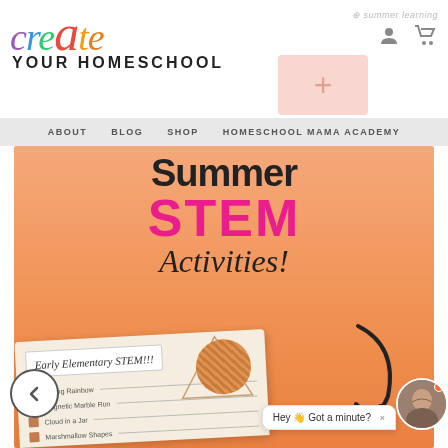[Figure (screenshot): Create Your Homeschool website header with colorful logo, navigation bar, and a Summer STEM Activities promotional banner with worksheet preview and chat widget]
create YOUR HOMESCHOOL
ABOUT
BLOG
SHOP
HOMESCHOOL MAMA ACADEMY
Summer STEM Activities!
Early Elementary STEM!!!
Hey 👋 Got a minute? ×